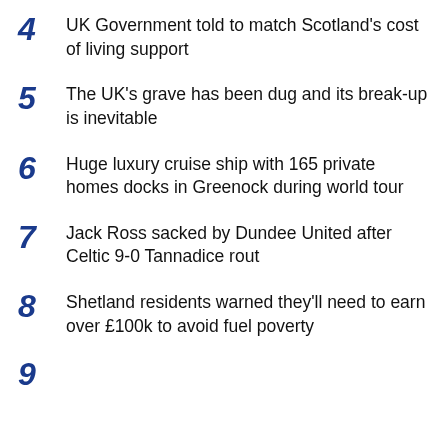4 UK Government told to match Scotland's cost of living support
5 The UK's grave has been dug and its break-up is inevitable
6 Huge luxury cruise ship with 165 private homes docks in Greenock during world tour
7 Jack Ross sacked by Dundee United after Celtic 9-0 Tannadice rout
8 Shetland residents warned they'll need to earn over £100k to avoid fuel poverty